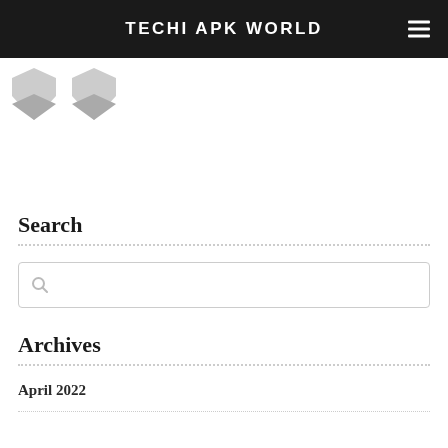TECHI APK WORLD
[Figure (logo): Two grey shield/badge icons partially visible at the top left of the page]
Search
[Figure (other): Search input box with a magnifying glass icon]
Archives
April 2022